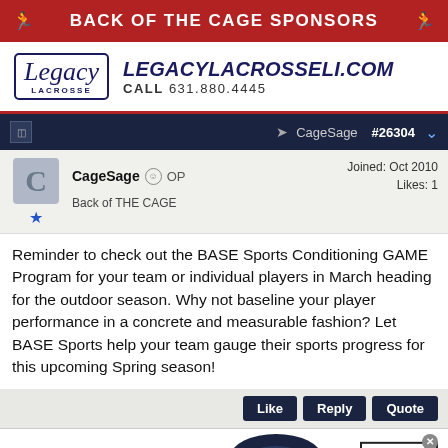BACK OF THE CAGE SPONSORS
[Figure (logo): Legacy Lacrosse logo with LEGACYLACROSSELI.COM and CALL 631.880.4445]
CageSage OP    Joined: Oct 2010
Back of THE CAGE    Likes: 1
Reminder to check out the BASE Sports Conditioning GAME Program for your team or individual players in March heading for the outdoor season. Why not baseline your player performance in a concrete and measurable fashion? Let BASE Sports help your team gauge their sports progress for this upcoming Spring season!
[Figure (logo): Bloomingdales advertisement: View Today's Top Deals! SHOP NOW >]